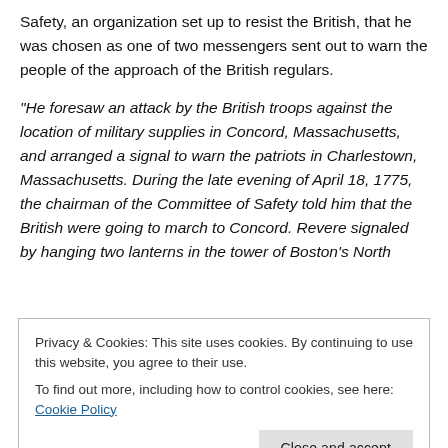Safety, an organization set up to resist the British, that he was chosen as one of two messengers sent out to warn the people of the approach of the British regulars.
“He foresaw an attack by the British troops against the location of military supplies in Concord, Massachusetts, and arranged a signal to warn the patriots in Charlestown, Massachusetts. During the late evening of April 18, 1775, the chairman of the Committee of Safety told him that the British were going to march to Concord. Revere signaled by hanging two lanterns in the tower of Boston’s North
Privacy & Cookies: This site uses cookies. By continuing to use this website, you agree to their use.
To find out more, including how to control cookies, see here: Cookie Policy
(1737–1793) and Samuel Adams (1722–1803), allowing